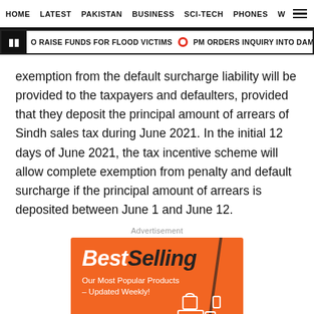HOME   LATEST   PAKISTAN   BUSINESS   SCI-TECH   PHONES   W
O RAISE FUNDS FOR FLOOD VICTIMS   PM ORDERS INQUIRY INTO DAMAGE CAUSE
exemption from the default surcharge liability will be provided to the taxpayers and defaulters, provided that they deposit the principal amount of arrears of Sindh sales tax during June 2021. In the initial 12 days of June 2021, the tax incentive scheme will allow complete exemption from penalty and default surcharge if the principal amount of arrears is deposited between June 1 and June 12.
Advertisement
[Figure (illustration): Orange advertisement banner with 'BestSelling' in large italic white and dark text, subtitle 'Our Most Popular Products – Updated Weekly!' with white icons of electronics and accessories on orange background with dark vertical accent line.]